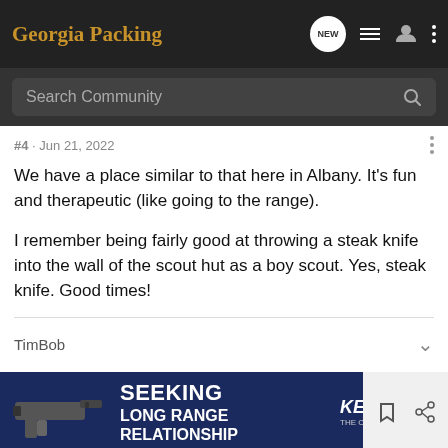Georgia Packing
Search Community
#4 · Jun 21, 2022
We have a place similar to that here in Albany. It's fun and therapeutic (like going to the range).

I remember being fairly good at throwing a steak knife into the wall of the scout hut as a boy scout. Yes, steak knife. Good times!
TimBob
[Figure (screenshot): Advertisement banner for Kel-Tec CP33 pistol with text 'SEEKING LONG RANGE RELATIONSHIP THE CP33 PISTOL']